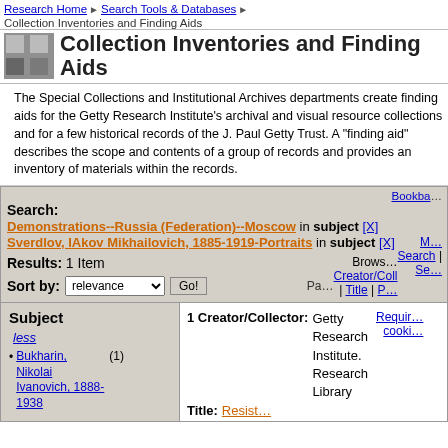Research Home > Search Tools & Databases > Collection Inventories and Finding Aids
Collection Inventories and Finding Aids
The Special Collections and Institutional Archives departments create finding aids for the Getty Research Institute's archival and visual resource collections and for a few historical records of the J. Paul Getty Trust. A "finding aid" describes the scope and contents of a group of records and provides an inventory of materials within the records.
Search: Demonstrations--Russia (Federation)--Moscow in subject [X] Sverdlov, IAkov Mikhailovich, 1885-1919-Portraits in subject [X] Results: 1 Item Sort by: relevance Go!
Subject
less
Bukharin, Nikolai Ivanovich, 1888-1938 (1)
1 Creator/Collector: Getty Research Institute. Research Library